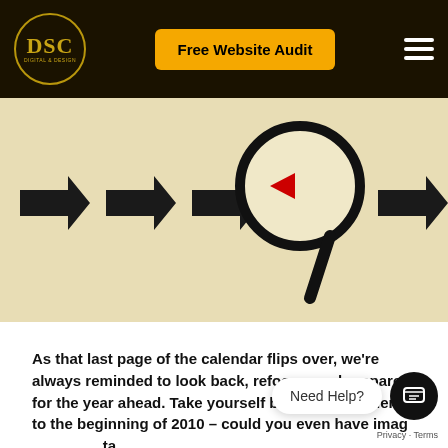DSC | Free Website Audit
[Figure (illustration): Hero image showing multiple black right-pointing arrows in a row on a beige/cream background, with a magnifying glass highlighting a single red left-pointing arrow going against the direction of the others.]
As that last page of the calendar flips over, we’re always reminded to look back, refocus, and prepare for the year ahead. Take yourself back for a moment to the beginning of 2010 – could you even have imag[ined] [the] change in the last decade?